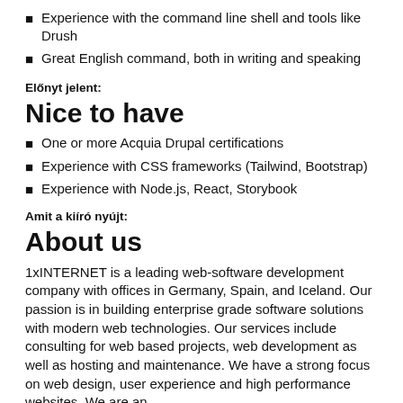Experience with the command line shell and tools like Drush
Great English command, both in writing and speaking
Előnyt jelent:
Nice to have
One or more Acquia Drupal certifications
Experience with CSS frameworks (Tailwind, Bootstrap)
Experience with Node.js, React, Storybook
Amit a kiíró nyújt:
About us
1xINTERNET is a leading web-software development company with offices in Germany, Spain, and Iceland. Our passion is in building enterprise grade software solutions with modern web technologies. Our services include consulting for web based projects, web development as well as hosting and maintenance. We have a strong focus on web design, user experience and high performance websites. We are an